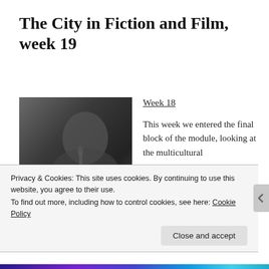The City in Fiction and Film, week 19
[Figure (photo): Black and white photograph used as a book cover for Sam Selvon, showing a man looking upward with text 'Sam Selvon' overlaid in large letters]
Week 18
This week we entered the final block of the module, looking at the multicultural
Privacy & Cookies: This site uses cookies. By continuing to use this website, you agree to their use.
To find out more, including how to control cookies, see here: Cookie Policy